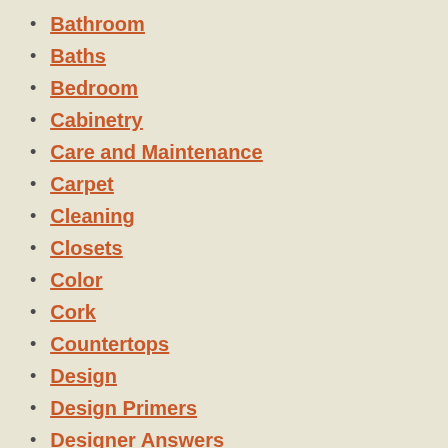Bathroom
Baths
Bedroom
Cabinetry
Care and Maintenance
Carpet
Cleaning
Closets
Color
Cork
Countertops
Design
Design Primers
Designer Answers
Dining Rooms
Dos and Don'ts
Entertaining
Fall
Favorite Things